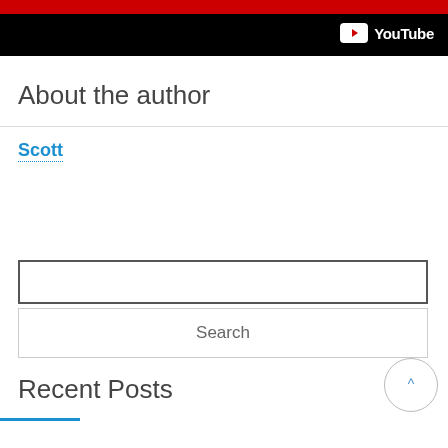[Figure (screenshot): YouTube video thumbnail bottom bar with red top, black background, and YouTube logo (play button icon and 'YouTube' text in white) on the right side]
About the author
Scott
Search
Recent Posts